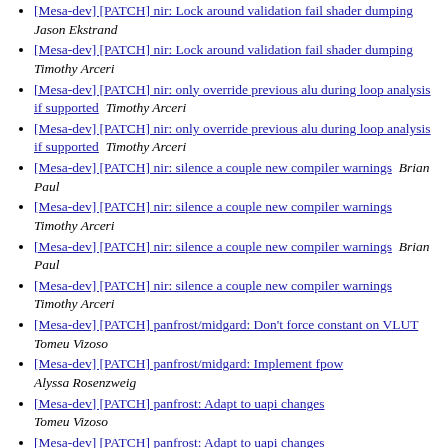[Mesa-dev] [PATCH] nir: Lock around validation fail shader dumping  Jason Ekstrand
[Mesa-dev] [PATCH] nir: Lock around validation fail shader dumping  Timothy Arceri
[Mesa-dev] [PATCH] nir: only override previous alu during loop analysis if supported  Timothy Arceri
[Mesa-dev] [PATCH] nir: only override previous alu during loop analysis if supported  Timothy Arceri
[Mesa-dev] [PATCH] nir: silence a couple new compiler warnings  Brian Paul
[Mesa-dev] [PATCH] nir: silence a couple new compiler warnings  Timothy Arceri
[Mesa-dev] [PATCH] nir: silence a couple new compiler warnings  Brian Paul
[Mesa-dev] [PATCH] nir: silence a couple new compiler warnings  Timothy Arceri
[Mesa-dev] [PATCH] panfrost/midgard: Don't force constant on VLUT  Tomeu Vizoso
[Mesa-dev] [PATCH] panfrost/midgard: Implement fpow  Alyssa Rosenzweig
[Mesa-dev] [PATCH] panfrost: Adapt to uapi changes  Tomeu Vizoso
[Mesa-dev] [PATCH] panfrost: Adapt to uapi changes  Alyssa Rosenzweig
[Mesa-dev] [PATCH] panfrost: Always shadow vertex